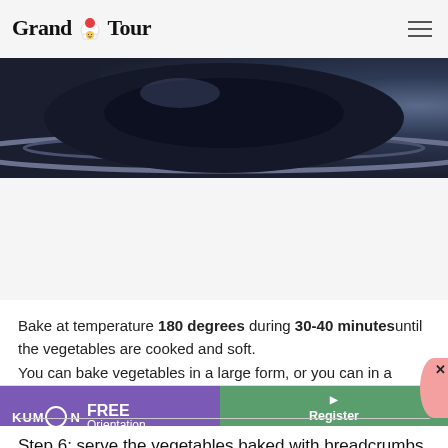Grand Tour
[Figure (photo): Dark blue/grey cooking pot or pan viewed from above, close-up shot]
Bake at temperature 180 degrees during 30-40 minutesuntil the vegetables are cooked and soft.
You can bake vegetables in a large form, or you can in a cocotte, the size of the form usually does not affect the baking time.
Step 6: serve the vegetables baked with breadcrumbs.
[Figure (infographic): Kumon FREE Orientation / Register Today advertisement banner in purple and green]